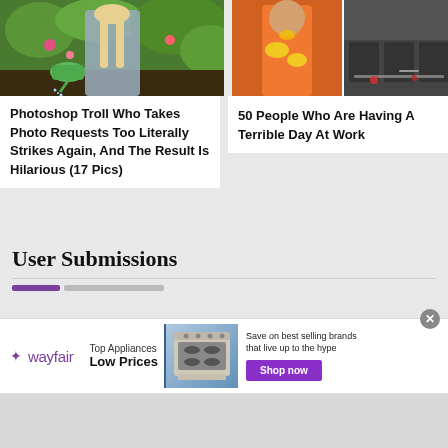[Figure (photo): Woman in grey dress holding green watering can in a garden]
Photoshop Troll Who Takes Photo Requests Too Literally Strikes Again, And The Result Is Hilarious (17 Pics)
[Figure (photo): Person in orange outfit covered in yellow paint, and messy salon with debris]
50 People Who Are Having A Terrible Day At Work
User Submissions
[Figure (infographic): Wayfair advertisement: Top Appliances Low Prices, Save on best selling brands that live up to the hype, Shop now button]